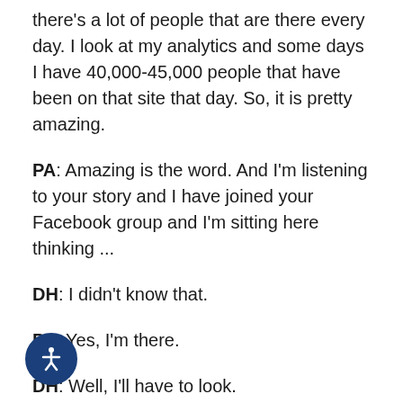there's a lot of people that are there every day. I look at my analytics and some days I have 40,000-45,000 people that have been on that site that day. So, it is pretty amazing.
PA: Amazing is the word. And I'm listening to your story and I have joined your Facebook group and I'm sitting here thinking ...
DH: I didn't know that.
PA: Yes, I'm there.
DH: Well, I'll have to look.
PA: I haven't made many comments, but I love, love reading the comments and the questions and the responses as well. I just think Donna, about the impact, this impact that you have that was borne